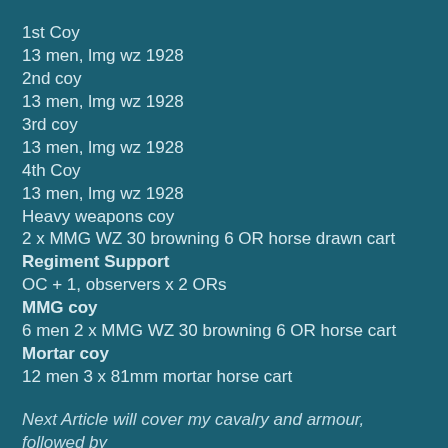1st Coy
13 men, lmg wz 1928
2nd coy
13 men, lmg wz 1928
3rd coy
13 men, lmg wz 1928
4th Coy
13 men, lmg wz 1928
Heavy weapons coy
2 x MMG WZ 30 browning 6 OR horse drawn cart
Regiment Support
OC + 1, observers x 2 ORs
MMG coy
6 men 2 x MMG WZ 30 browning 6 OR horse cart
Mortar coy
12 men 3 x 81mm mortar horse cart
Next Article will cover my cavalry and armour, followed by